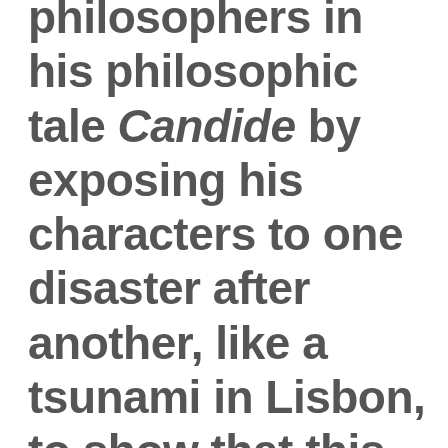philosophers in his philosophic tale Candide by exposing his characters to one disaster after another, like a tsunami in Lisbon, to show that this was not “the best